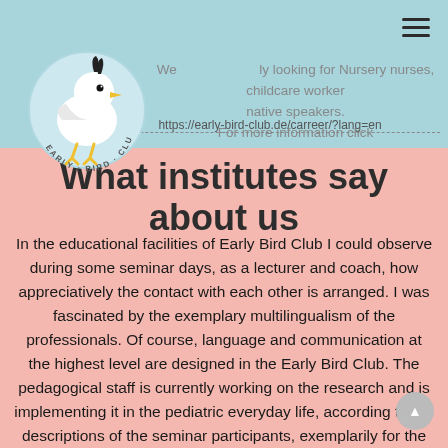[Figure (logo): Early Bird Club logo: white bird/duck cartoon on light blue circle with text 'EARLY BIRD CLUB' around the bottom]
We are currently looking for Nursery nurses, childcare workers native speakers.
For more information click
https://early-bird-club.de/carreer/?lang=en
What institutes say about us
In the educational facilities of Early Bird Club I could observe during some seminar days, as a lecturer and coach, how appreciatively the contact with each other is arranged. I was fascinated by the exemplary multilingualism of the professionals. Of course, language and communication at the highest level are designed in the Early Bird Club. The pedagogical staff is currently working on the research and is implementing it in the pediatric everyday life, according to the descriptions of the seminar participants, exemplarily for the children and their families. I can highly recommend Early Bird Club as an employer and service provider to all pedagogical specialists and families;